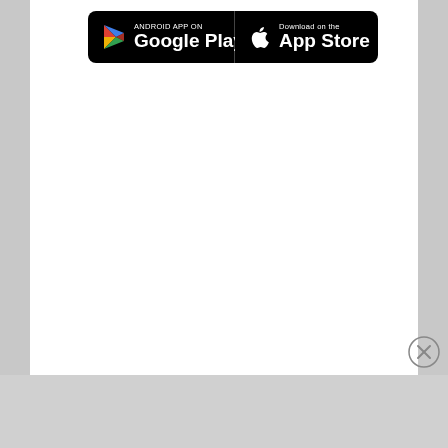[Figure (logo): Google Play and App Store download badges side by side on black rounded rectangle backgrounds]